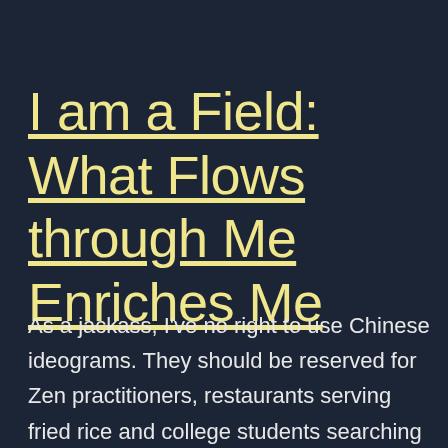I am a Field: What Flows through Me Enriches Me
As a jackass, I've no right to use Chinese ideograms. They should be reserved for Zen practitioners, restaurants serving fried rice and college students searching for just the